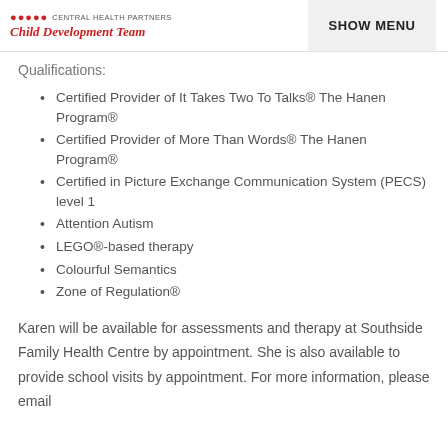Central Health Partners Child Development Team | SHOW MENU
Qualifications:
Certified Provider of It Takes Two To Talks® The Hanen Program®
Certified Provider of More Than Words® The Hanen Program®
Certified in Picture Exchange Communication System (PECS) level 1
Attention Autism
LEGO®-based therapy
Colourful Semantics
Zone of Regulation®
Karen will be available for assessments and therapy at Southside Family Health Centre by appointment. She is also available to provide school visits by appointment. For more information, please email